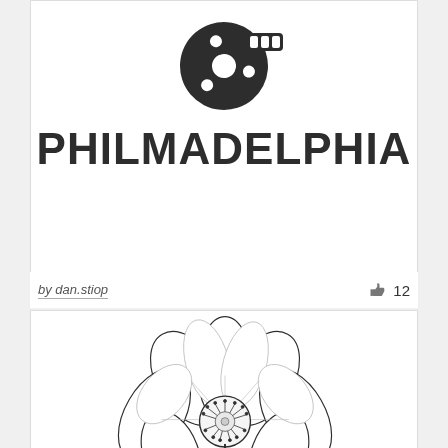[Figure (logo): Film reel icon above the word PHILMADELPHIA in bold block letters — a logo design on a white card]
by dan.stiop
👍 12
[Figure (illustration): Detailed line-art illustration of a flower (poppy/buttercup style) with multiple petals and visible stamens, partially cropped at bottom]